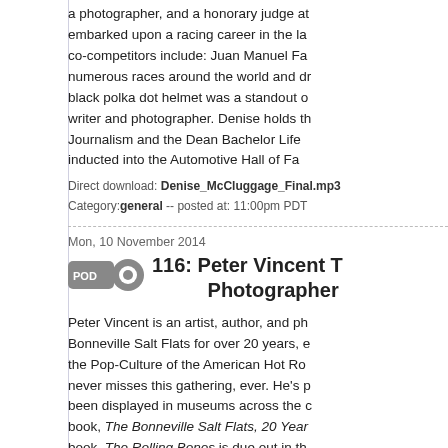a photographer, and a honorary judge at... embarked upon a racing career in the la... co-competitors include: Juan Manuel Fa... numerous races around the world and dr... black polka dot helmet was a standout o... writer and photographer. Denise holds th... Journalism and the Dean Bachelor Life... inducted into the Automotive Hall of Fa...
Direct download: Denise_McCluggage_Final.mp3
Category: general -- posted at: 11:00pm PDT
Mon, 10 November 2014
116: Peter Vincent T... Photographer
Peter Vincent is an artist, author, and ph... Bonneville Salt Flats for over 20 years, e... the Pop-Culture of the American Hot Ro... never misses this gathering, ever. He's p... been displayed in museums across the c... book, The Bonneville Salt Flats, 20 Year... book, The Rolling Bones is due out in th... magazine including The Rodder's Journ... my home.